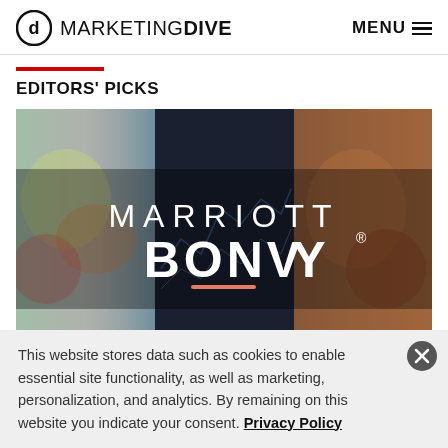MARKETING DIVE  MENU
EDITORS' PICKS
[Figure (photo): Marriott Bonvoy logo displayed over a blurred triptych background of hotel/travel imagery — colorful food on left, dark financial chart in center, warm amber-toned interior on right. Large white text reads 'MARRIOTT BONVOY' with a small registered trademark symbol and a coral/salmon underline accent beneath 'BONVOY'.]
This website stores data such as cookies to enable essential site functionality, as well as marketing, personalization, and analytics. By remaining on this website you indicate your consent. Privacy Policy